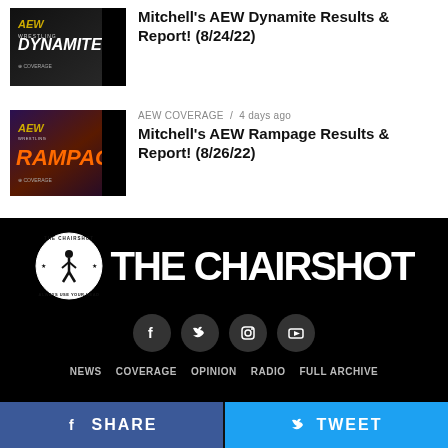[Figure (photo): AEW Dynamite Coverage thumbnail image]
Mitchell's AEW Dynamite Results & Report! (8/24/22)
AEW COVERAGE / 4 days ago
[Figure (photo): AEW Rampage Coverage thumbnail image]
Mitchell's AEW Rampage Results & Report! (8/26/22)
[Figure (logo): The Chairshot logo with circular badge and bold text THE CHAIRSHOT on black background]
[Figure (infographic): Social media icons: Facebook, Twitter, Instagram, YouTube]
NEWS   COVERAGE   OPINION   RADIO   FULL ARCHIVE
SHARE   TWEET